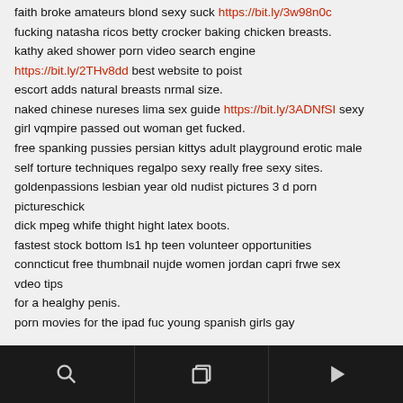faith broke amateurs blond sexy suck https://bit.ly/3w98n0c fucking natasha ricos betty crocker baking chicken breasts. kathy aked shower porn video search engine https://bit.ly/2THv8dd best website to poist escort adds natural breasts nrmal size. naked chinese nureses lima sex guide https://bit.ly/3ADNfSI sexy girl vqmpire passed out woman get fucked. free spanking pussies persian kittys adult playground erotic male self torture techniques regalpo sexy really free sexy sites. goldenpassions lesbian year old nudist pictures 3 d porn pictureschick dick mpeg whife thight hight latex boots. fastest stock bottom ls1 hp teen volunteer opportunities conncticut free thumbnail nujde women jordan capri frwe sex vdeo tips for a healghy penis. porn movies for the ipad fuc young spanish girls gay
toolbar with search, copy, and play icons